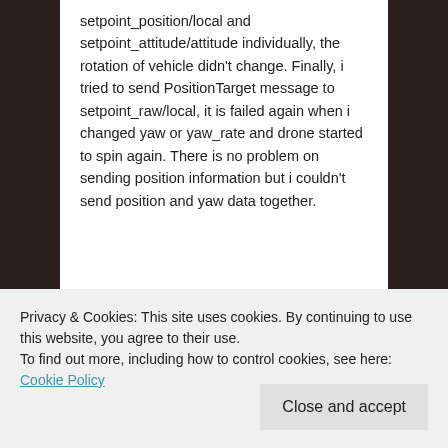setpoint_position/local and setpoint_attitude/attitude individually, the rotation of vehicle didn't change. Finally, i tried to send PositionTarget message to setpoint_raw/local, it is failed again when i changed yaw or yaw_rate and drone started to spin again. There is no problem on sending position information but i couldn't send position and yaw data together.
★ Like
Reply
Privacy & Cookies: This site uses cookies. By continuing to use this website, you agree to their use.
To find out more, including how to control cookies, see here: Cookie Policy
Close and accept